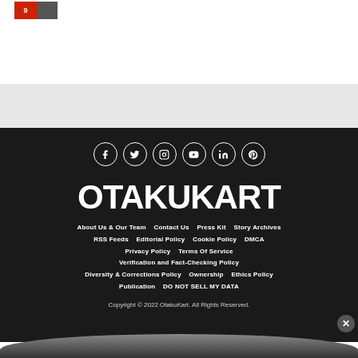[Figure (screenshot): Small thumbnail with red badge showing number 9 and an anime image next to it]
[Figure (logo): OtakuKart website logo in large bold white text on dark background]
About Us & Our Team   Contact Us   Press Kit   Story Archives   RSS Feeds   Editorial Policy   Cookie Policy   DMCA   Privacy Policy   Terms Of Service   Verification and Fact-Checking Policy   Diversity & Corrections Policy   Ownership   Ethics Policy   Publication   DO NOT SELL MY DATA
Copyright © 2022 OtakuKart. All Rights Reserved.